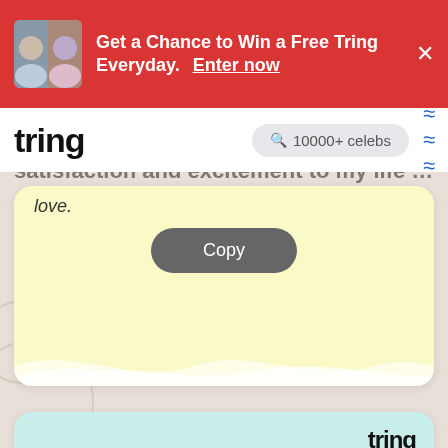Get a Chance to Win a Free Tring Everyday. Enter now
tring | 10000+ celebs search
satisfaction and excitement to my life and been love.
Copy
tring
My smarty pants, happy birthday. I want to make you feel special on this special day. I hope you are given every opportunity to prove your worth to the world. To the moon and back, I will always love you!
Copy